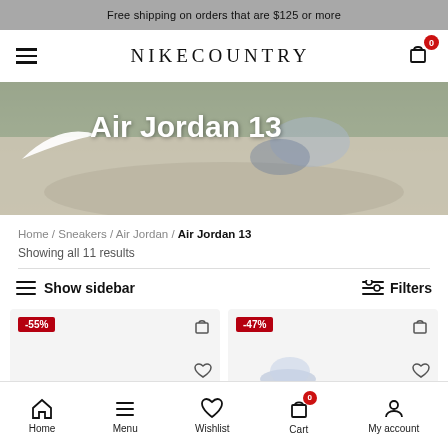Free shipping on orders that are $125 or more
NIKECOUNTRY — navigation bar with hamburger menu and cart (0 items)
[Figure (photo): Hero banner showing Air Jordan 13 sneaker being worn outdoors, with Nike swoosh logo and 'Air Jordan 13' text overlay in white]
Home / Sneakers / Air Jordan / Air Jordan 13
Showing all 11 results
Show sidebar | Filters
[Figure (screenshot): Two product cards partially visible, first with -55% badge and cart/wishlist icons, second with -47% badge and cart/wishlist icons and partial shoe image]
Home | Menu | Wishlist | Cart 0 | My account